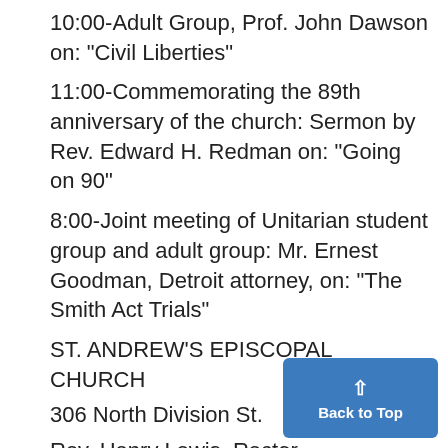10:00-Adult Group, Prof. John Dawson on: "Civil Liberties"
11:00-Commemorating the 89th anniversary of the church: Sermon by Rev. Edward H. Redman on: "Going on 90"
8:00-Joint meeting of Unitarian student group and adult group: Mr. Ernest Goodman, Detroit attorney, on: "The Smith Act Trials"
ST. ANDREW'S EPISCOPAL CHURCH
306 North Division St.
Rev. Henry Lewis, Rector